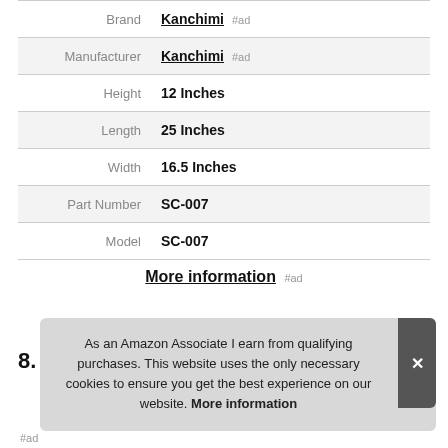| Attribute | Value |
| --- | --- |
| Brand | Kanchimi #ad |
| Manufacturer | Kanchimi #ad |
| Height | 12 Inches |
| Length | 25 Inches |
| Width | 16.5 Inches |
| Part Number | SC-007 |
| Model | SC-007 |
More information #ad
As an Amazon Associate I earn from qualifying purchases. This website uses the only necessary cookies to ensure you get the best experience on our website. More information
8.
#ad